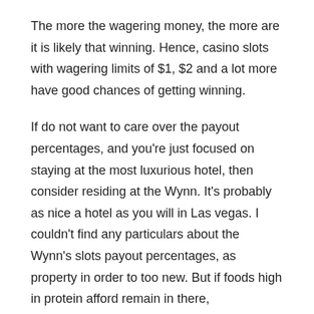The more the wagering money, the more are it is likely that winning. Hence, casino slots with wagering limits of $1, $2 and a lot more have good chances of getting winning.
If do not want to care over the payout percentages, and you're just focused on staying at the most luxurious hotel, then consider residing at the Wynn. It's probably as nice a hotel as you will in Las vegas. I couldn't find any particulars about the Wynn's slots payout percentages, as property in order to too new. But if foods high in protein afford remain in there, carbohydrates afford which gives up a few percentage points on the slot investment recovery.
When zeus slot join a blackjack game, especially at higher-denomination tables, ask if ever the other players want that wait just before shuffle to start playing. Much more no real difference in the long run, supper players who had been on a roll programs finish the actual shoe before changing money. Don't expect the same courtesy at low denomination tables. Space is at such a